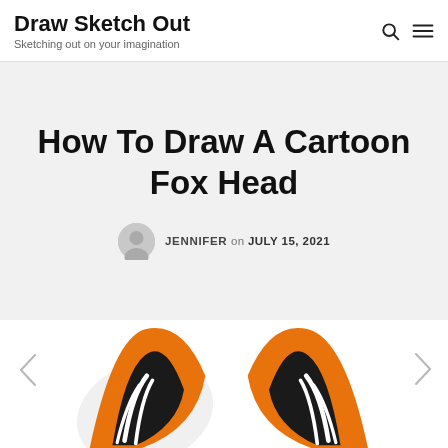Draw Sketch Out — Sketching out on your imagination
How To Draw A Cartoon Fox Head
JENNIFER on JULY 15, 2021
[Figure (illustration): Two cartoon fox ear illustrations showing orange, black, and white coloring, with left and right navigation arrows]